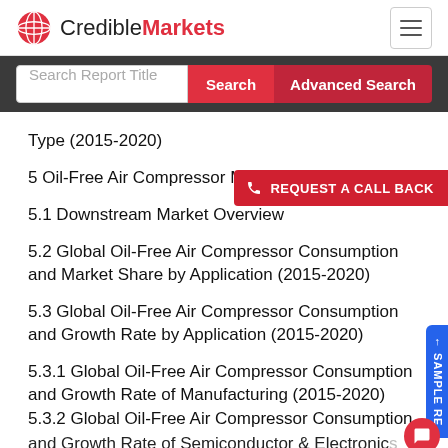CredibleMarkets
Search Report Title
Type (2015-2020)
5 Oil-Free Air Compressor Market, [by type]
5.1 Downstream Market Overview
5.2 Global Oil-Free Air Compressor Consumption and Market Share by Application (2015-2020)
5.3 Global Oil-Free Air Compressor Consumption and Growth Rate by Application (2015-2020)
5.3.1 Global Oil-Free Air Compressor Consumption and Growth Rate of Manufacturing (2015-2020)
5.3.2 Global Oil-Free Air Compressor Consumption and Growth Rate of Semiconductor & Electronics